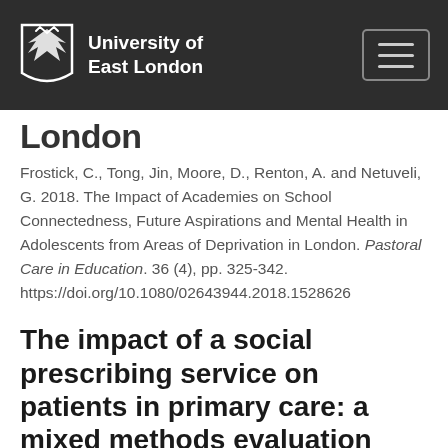University of East London
London
Frostick, C., Tong, Jin, Moore, D., Renton, A. and Netuveli, G. 2018. The Impact of Academies on School Connectedness, Future Aspirations and Mental Health in Adolescents from Areas of Deprivation in London. Pastoral Care in Education. 36 (4), pp. 325-342. https://doi.org/10.1080/02643944.2018.1528626
The impact of a social prescribing service on patients in primary care: a mixed methods evaluation
Carnes, Dawn, Sohanpal, Ratna, Frostick, C., Hull,